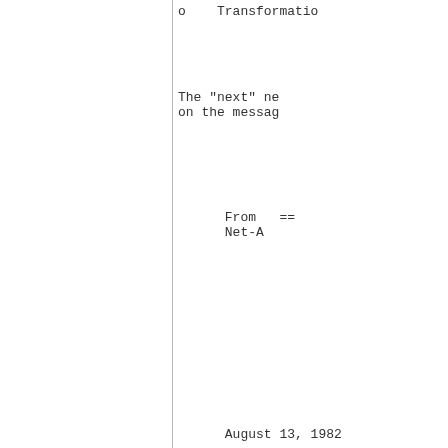o    Transformatio
The "next" ne
on the messag
From   ==
Net-A
August 13, 1982